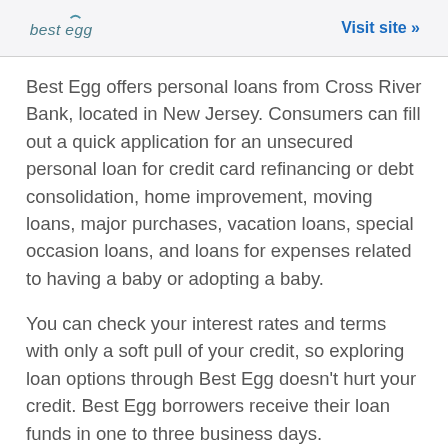best egg | Visit site »
Best Egg offers personal loans from Cross River Bank, located in New Jersey. Consumers can fill out a quick application for an unsecured personal loan for credit card refinancing or debt consolidation, home improvement, moving loans, major purchases, vacation loans, special occasion loans, and loans for expenses related to having a baby or adopting a baby.
You can check your interest rates and terms with only a soft pull of your credit, so exploring loan options through Best Egg doesn't hurt your credit. Best Egg borrowers receive their loan funds in one to three business days.